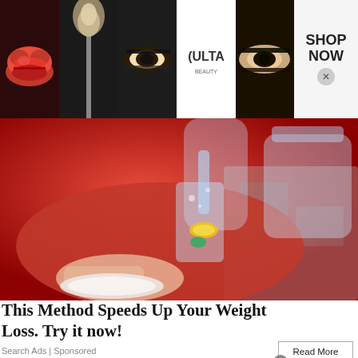[Figure (photo): Top banner advertisement for Ulta Beauty showing beauty makeup images: red lips, makeup brush, eye with dramatic makeup, Ulta Beauty logo, model face with smokey eye, and SHOP NOW text button]
[Figure (photo): Main article image showing a woman in red outfit pouring a drink with lemon and mint into a glass]
This Method Speeds Up Your Weight Loss. Try it now!
Search Ads | Sponsored
Read More
[Figure (screenshot): Wayfair.com advertisement banner with logo, text 'Wayfair.com - Online Home Store Sale! Shop for A Zillion Things Home across all styles at Wayfair! www.wayfair.com' and blue circular arrow button]